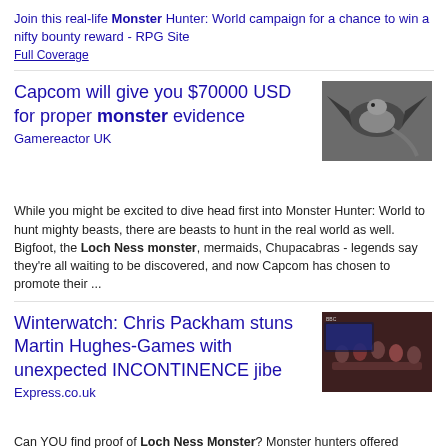Join this real-life Monster Hunter: World campaign for a chance to win a nifty bounty reward - RPG Site
Full Coverage
Capcom will give you $70000 USD for proper monster evidence
Gamereactor UK
[Figure (photo): A dragon-like creature flying against a dark background]
While you might be excited to dive head first into Monster Hunter: World to hunt mighty beasts, there are beasts to hunt in the real world as well. Bigfoot, the Loch Ness monster, mermaids, Chupacabras - legends say they're all waiting to be discovered, and now Capcom has chosen to promote their ...
Winterwatch: Chris Packham stuns Martin Hughes-Games with unexpected INCONTINENCE jibe
Express.co.uk
[Figure (photo): Group of people sitting around a table in a darkened room]
Can YOU find proof of Loch Ness Monster? Monster hunters offered £50,000 reward · Brendan Cole axed Strictly Come Dancing Lorraine Charlotte Hawkins